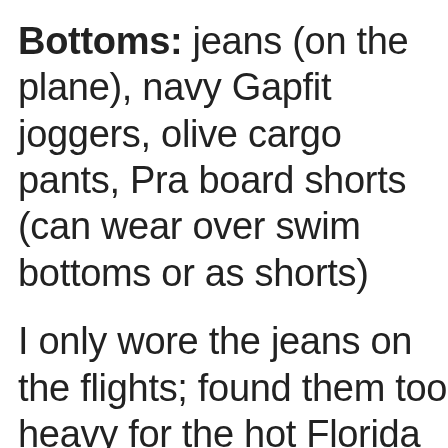Bottoms: jeans (on the plane), navy Gapfit joggers, olive cargo pants, Pra board shorts (can wear over swim bottoms or as shorts)
I only wore the jeans on the flights; found them too heavy for the hot Florida sun. In the future, I would sw them for another lightweight pant.
I ended up bringing one more bal